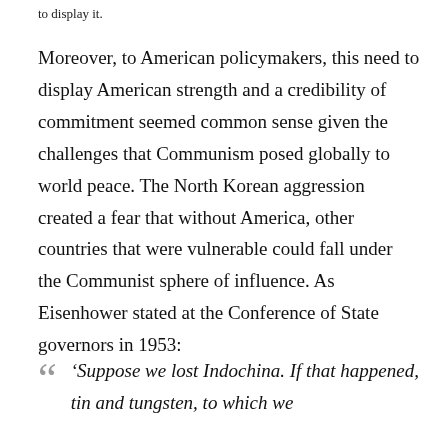to display it.
Moreover, to American policymakers, this need to display American strength and a credibility of commitment seemed common sense given the challenges that Communism posed globally to world peace. The North Korean aggression created a fear that without America, other countries that were vulnerable could fall under the Communist sphere of influence. As Eisenhower stated at the Conference of State governors in 1953:
‘Suppose we lost Indochina. If that happened, tin and tungsten, to which we